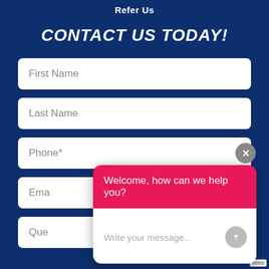Refer Us
CONTACT US TODAY!
[Figure (screenshot): Web contact form with fields: First Name, Last Name, Phone*, Email, Que... (Questions) on dark blue background, with an overlapping chat popup showing 'Welcome, how can we help you?' in pink header and 'Write your message...' input area with send button]